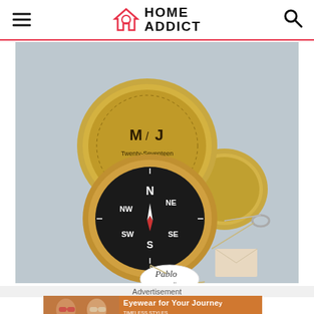HOME ADDICT
[Figure (photo): A gold brass compass open showing compass face with N, NE, NW, S markings and compass needle, with engraved lid showing initials M & J and 'Twenty-Seventeen', and a round name tag labeled 'Pablo', plus a second closed gold compass/tin, photographed on a light blue-grey background]
Advertisement
[Figure (photo): Advertisement banner showing two women wearing sunglasses on brown/orange background with text 'Eyewear for Your Journey', 'TIMELESS STYLES. UNMATCHED QUALITY', and a 'SHOP NOW' button]